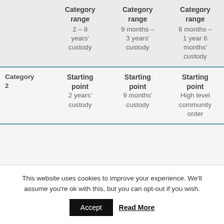|  | Category range 2–8 years' custody | Category range 9 months–3 years' custody | Category range 6 months–1 year 6 months' custody |
| --- | --- | --- | --- |
| Category 2 | Starting point
2 years' custody | Starting point
9 months' custody | Starting point
High level community order |
This website uses cookies to improve your experience. We'll assume you're ok with this, but you can opt-out if you wish.